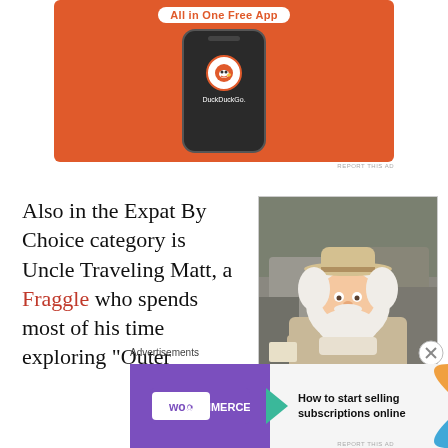[Figure (screenshot): DuckDuckGo 'All in One Free App' advertisement showing a smartphone with the DuckDuckGo app icon on an orange background]
REPORT THIS AD
Also in the Expat By Choice category is Uncle Traveling Matt, a Fraggle who spends most of his time exploring “Outer
[Figure (photo): Photo of Uncle Traveling Matt, a Fraggle Rock puppet character wearing a safari hat, with white fluffy hair and beard, in an outdoor rocky setting]
Advertisements
[Figure (screenshot): WooCommerce advertisement: purple left panel with WooCommerce logo, right panel reading 'How to start selling subscriptions online' with orange and blue decorative arcs]